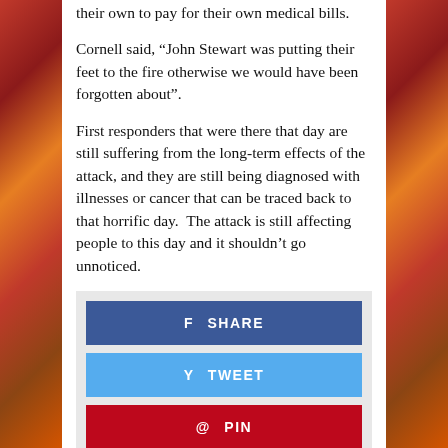their own to pay for their own medical bills.
Cornell said, “John Stewart was putting their feet to the fire otherwise we would have been forgotten about”.
First responders that were there that day are still suffering from the long-term effects of the attack, and they are still being diagnosed with illnesses or cancer that can be traced back to that horrific day.  The attack is still affecting people to this day and it shouldn’t go unnoticed.
[Figure (infographic): Social sharing buttons: Facebook SHARE (blue), Twitter TWEET (light blue), Pinterest PIN (red)]